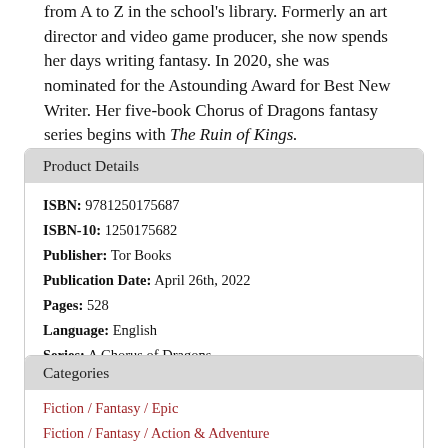from A to Z in the school's library. Formerly an art director and video game producer, she now spends her days writing fantasy. In 2020, she was nominated for the Astounding Award for Best New Writer. Her five-book Chorus of Dragons fantasy series begins with The Ruin of Kings.
Product Details
ISBN: 9781250175687
ISBN-10: 1250175682
Publisher: Tor Books
Publication Date: April 26th, 2022
Pages: 528
Language: English
Series: A Chorus of Dragons
Categories
Fiction / Fantasy / Epic
Fiction / Fantasy / Action & Adventure
Fiction / Fantasy / Dragons & Mythical Creatures